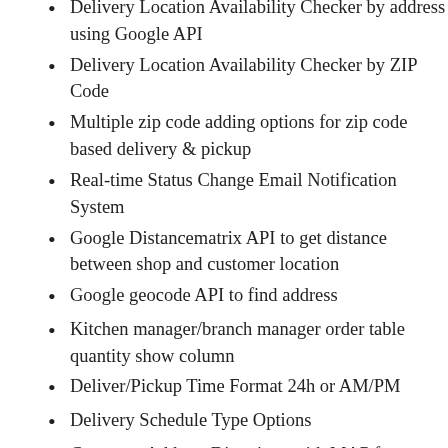Delivery Location Availability Checker by address using Google API
Delivery Location Availability Checker by ZIP Code
Multiple zip code adding options for zip code based delivery & pickup
Real-time Status Change Email Notification System
Google Distancematrix API to get distance between shop and customer location
Google geocode API to find address
Kitchen manager/branch manager order table quantity show column
Deliver/Pickup Time Format 24h or AM/PM
Delivery Schedule Type Options
Customer Address Directions with MAP for Delivery Boy
Admin Order Manage Real-time Table Data Update
Decimal Separator and Thousand Separator Works With Woocommerce Settings